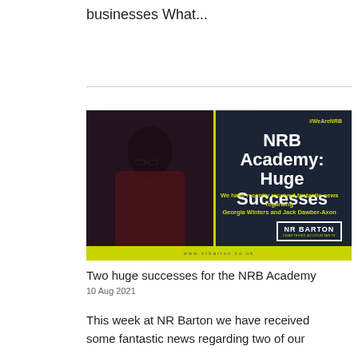businesses What...
[Figure (photo): NRB Academy promotional image showing two people (Georgia Winters and Jack Dawber-Axon) with text overlay: '#WeAreNRB', 'NRB Academy: Huge Successes', 'We have recently received fantastic news regarding Georgia Winters and Jack Dawber-Axon', NR Barton logo, yellow bottom bar with website URL www.nrbarton.co.uk]
Two huge successes for the NRB Academy
10 Aug 2021
This week at NR Barton we have received some fantastic news regarding two of our